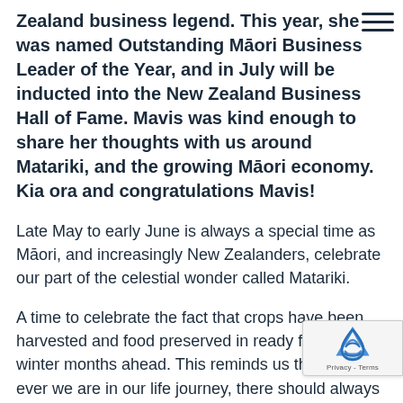Zealand business legend. This year, she was named Outstanding Māori Business Leader of the Year, and in July will be inducted into the New Zealand Business Hall of Fame. Mavis was kind enough to share her thoughts with us around Matariki, and the growing Māori economy. Kia ora and congratulations Mavis!
Late May to early June is always a special time as Māori, and increasingly New Zealanders, celebrate our part of the celestial wonder called Matariki.
A time to celebrate the fact that crops have been harvested and food preserved in ready for the long winter months ahead. This reminds us that where ever we are in our life journey, there should always be a time to reflect, celebrate, rest and indulge in home and whanau. I am not sure I do this particularly well, but